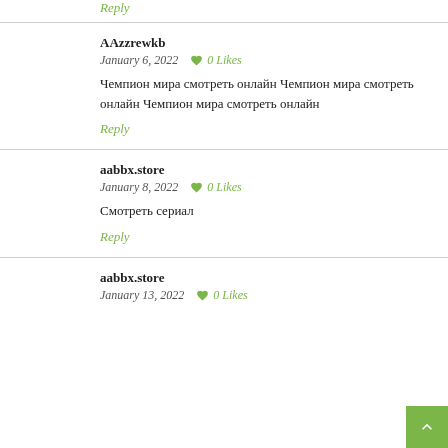Reply
AAzzrewkb
January 6, 2022  0 Likes
Чемпион мира смотреть онлайн Чемпион мира смотреть онлайн Чемпион мира смотреть онлайн
Reply
aabbx.store
January 8, 2022  0 Likes
Смотреть сериал
Reply
aabbx.store
January 13, 2022  0 Likes